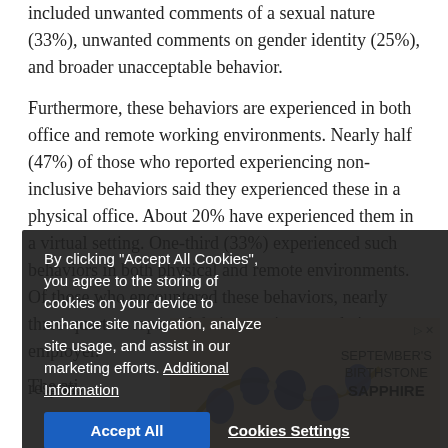included unwanted comments of a sexual nature (33%), unwanted comments on gender identity (25%), and broader unacceptable behavior.
Furthermore, these behaviors are experienced in both office and remote working environments. Nearly half (47%) of those who reported experiencing non-inclusive behaviors said they experienced these in a physical office. About 20% have experienced them in a virtual setting. One-third (33%) experienced such behaviors in both physical and remote environments. Of those who encountered these behaviors, nearly three-quarters reported their experience to their employer. employers were...
[Figure (screenshot): Cookie consent popup overlay with dark semi-transparent background. Text reads: 'By clicking "Accept All Cookies", you agree to the storing of cookies on your device to enhance site navigation, analyze site usage, and assist in our marketing efforts. Additional Information'. Two buttons: 'Accept All' (blue) and 'Cookies Settings' (text with underline).]
[Figure (photo): Advertisement banner with cream/beige background showing a sapphire and diamond necklace with text 'SEPTEMBER'S BIRTHSTONE SAPPHIRE'. Small navigation/close icons in top right.]